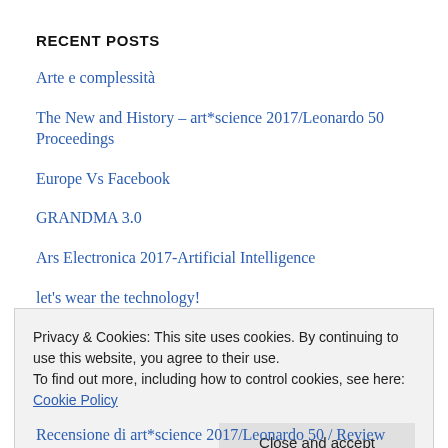RECENT POSTS
Arte e complessità
The New and History – art*science 2017/Leonardo 50 Proceedings
Europe Vs Facebook
GRANDMA 3.0
Ars Electronica 2017-Artificial Intelligence
let's wear the technology!
Privacy & Cookies: This site uses cookies. By continuing to use this website, you agree to their use.
To find out more, including how to control cookies, see here: Cookie Policy
Close and accept
Recensione di art*science 2017/Leonardo 50 / Review